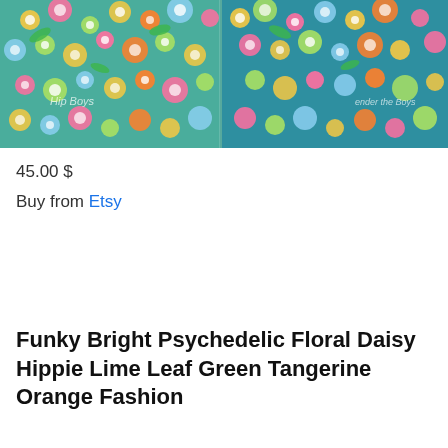[Figure (photo): Two views of a bright floral psychedelic dress/top hanging on a rack, featuring multicolored flowers including blue, yellow, pink, orange, green and white on a teal/blue background. Watermark text visible reading 'Hip Boys' and 'ender the Boys'.]
45.00 $
Buy from Etsy
Funky Bright Psychedelic Floral Daisy Hippie Lime Leaf Green Tangerine Orange Fashion